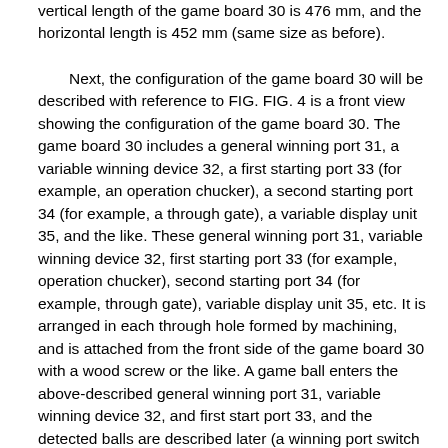vertical length of the game board 30 is 476 mm, and the horizontal length is 452 mm (same size as before).
Next, the configuration of the game board 30 will be described with reference to FIG. FIG. 4 is a front view showing the configuration of the game board 30. The game board 30 includes a general winning port 31, a variable winning device 32, a first starting port 33 (for example, an operation chucker), a second starting port 34 (for example, a through gate), a variable display unit 35, and the like. These general winning port 31, variable winning device 32, first starting port 33 (for example, operation chucker), second starting port 34 (for example, through gate), variable display unit 35, etc. It is arranged in each through hole formed by machining, and is attached from the front side of the game board 30 with a wood screw or the like. A game ball enters the above-described general winning port 31, variable winning device 32, and first start port 33, and the detected balls are described later (a winning port switch 221, a count switch 223, an operating port switch 224, etc.). Based on the output of the detection switch, a predetermined number of prize balls are paid out to the upper plate 19 (or the lower plate 15). In addition, the game